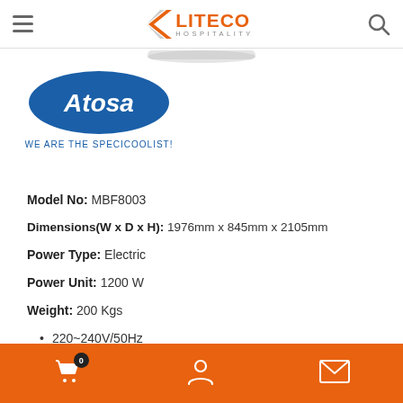LITECO HOSPITALITY
[Figure (logo): Atosa logo — blue oval with white Atosa text and tagline WE ARE THE SPECICOOLIST!]
Model No: MBF8003
Dimensions(W x D x H): 1976mm x 845mm x 2105mm
Power Type: Electric
Power Unit: 1200 W
Weight: 200 Kgs
220~240V/50Hz
Cart (0), User account, Contact/Email